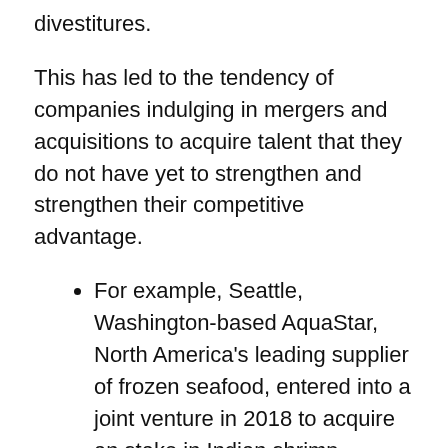divestitures.
This has led to the tendency of companies indulging in mergers and acquisitions to acquire talent that they do not have yet to strengthen and strengthen their competitive advantage.
For example, Seattle, Washington-based AquaStar, North America's leading supplier of frozen seafood, entered into a joint venture in 2018 to acquire an stake in Indian shrimp producer Sagar Grandhi Exports, Ltd.
Major companies offering frozen shrimp include SeaPak Shrimp Company, Seafood Co., Aqua Star Corp., Clearwater Seafood, Aqua Chile, Toyo Suisan